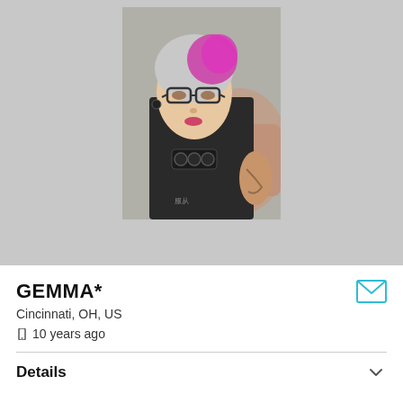[Figure (photo): Profile photo of a person with short pink/purple and white hair, wearing glasses and a black sleeveless top with a knuckle-duster necklace. Background shows outdoor seating area.]
GEMMA*
Cincinnati, OH, US
🕒 10 years ago
Details